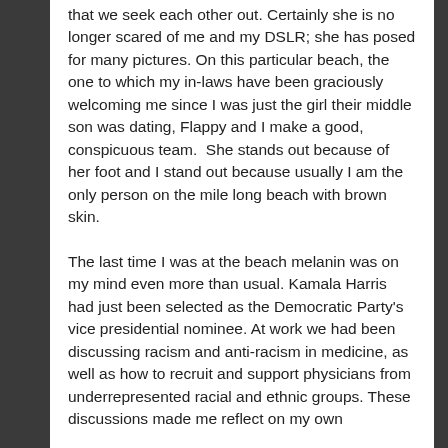that we seek each other out. Certainly she is no longer scared of me and my DSLR; she has posed for many pictures. On this particular beach, the one to which my in-laws have been graciously welcoming me since I was just the girl their middle son was dating, Flappy and I make a good, conspicuous team.  She stands out because of her foot and I stand out because usually I am the only person on the mile long beach with brown skin.
The last time I was at the beach melanin was on my mind even more than usual. Kamala Harris had just been selected as the Democratic Party's vice presidential nominee. At work we had been discussing racism and anti-racism in medicine, as well as how to recruit and support physicians from underrepresented racial and ethnic groups. These discussions made me reflect on my own